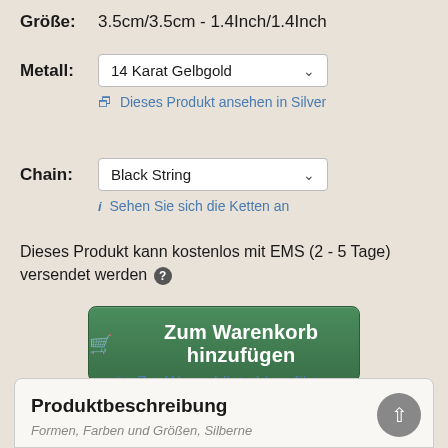Größe: 3.5cm/3.5cm - 1.4Inch/1.4Inch
Metall: 14 Karat Gelbgold
Dieses Produkt ansehen in Silver
Chain: Black String
Sehen Sie sich die Ketten an
Dieses Produkt kann kostenlos mit EMS (2 - 5 Tage) versendet werden
Zum Warenkorb hinzufügen
Zur Wunschliste hinzufügen
Produktbeschreibung